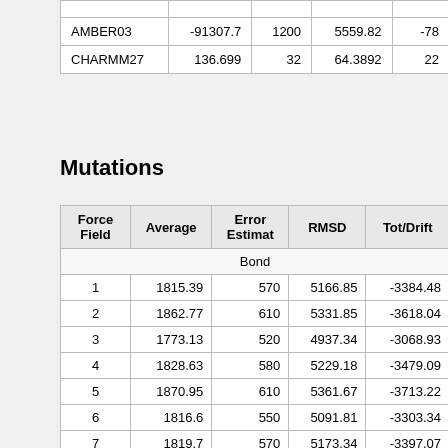| Force Field | Average | Error Estimat | RMSD | Tot/Drift |
| --- | --- | --- | --- | --- |
|  |  |  |  |  |
| AMBER03 | -91307.7 | 1200 | 5559.82 | -78... |
| CHARMM27 | 136.699 | 32 | 64.3892 | 22... |
Mutations
| Force Field | Average | Error Estimat | RMSD | Tot/Drift |
| --- | --- | --- | --- | --- |
| Bond |  |  |  |  |
| 1 | 1815.39 | 570 | 5166.85 | -3384.48 |
| 2 | 1862.77 | 610 | 5331.85 | -3618.04 |
| 3 | 1773.13 | 520 | 4937.34 | -3068.93 |
| 4 | 1828.63 | 580 | 5229.18 | -3479.09 |
| 5 | 1870.95 | 610 | 5361.67 | -3713.22 |
| 6 | 1816.6 | 550 | 5091.81 | -3303.34 |
| 7 | 1819.7 | 570 | 5173.34 | -3397.07 |
| 8 | 2992.15 | 1700 | -nan | -10631.8 |
| 9 | 2083.16 | 830 | -nan | -4913.82 |
| 10 | 1867.42 | 620 | 5390.82 | -3693.0... |